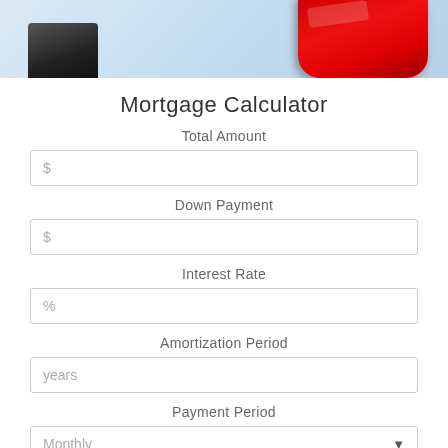[Figure (photo): Top portion of a mortgage calculator app screenshot showing a red calculator device on a light blue background]
Mortgage Calculator
Total Amount
$
Down Payment
$
Interest Rate
%
Amortization Period
years
Payment Period
Monthly